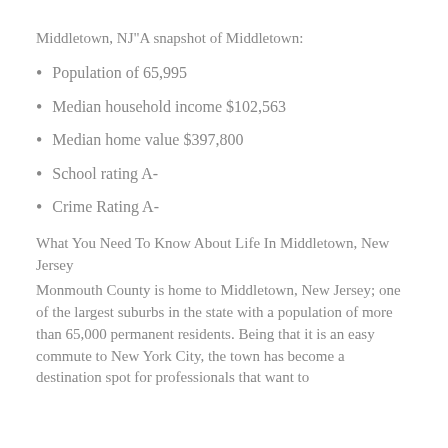Middletown, NJ"A snapshot of Middletown:
Population of 65,995
Median household income $102,563
Median home value $397,800
School rating A-
Crime Rating A-
What You Need To Know About Life In Middletown, New Jersey
Monmouth County is home to Middletown, New Jersey; one of the largest suburbs in the state with a population of more than 65,000 permanent residents. Being that it is an easy commute to New York City, the town has become a destination spot for professionals that want to